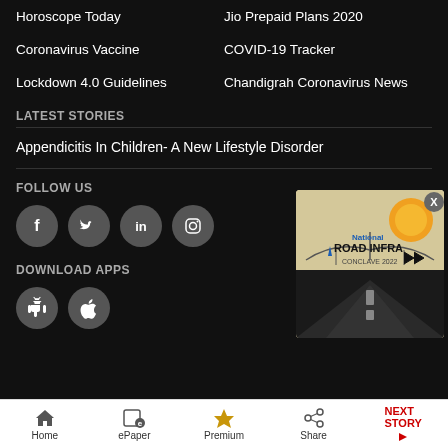Horoscope Today
Jio Prepaid Plans 2020
Coronavirus Vaccine
COVID-19 Tracker
Lockdown 4.0 Guidelines
Chandigrah Coronavirus News
LATEST STORIES
Appendicitis In Children- A New Lifestyle Disorder
FOLLOW US
[Figure (infographic): Social media icons: Facebook, Twitter, LinkedIn, Instagram]
DOWNLOAD APPS
[Figure (infographic): App store icons: Android and Apple]
[Figure (infographic): National Road Infra Conclave 2022 popup advertisement]
Home | ePaper | Premium | Share | NEXT STORY